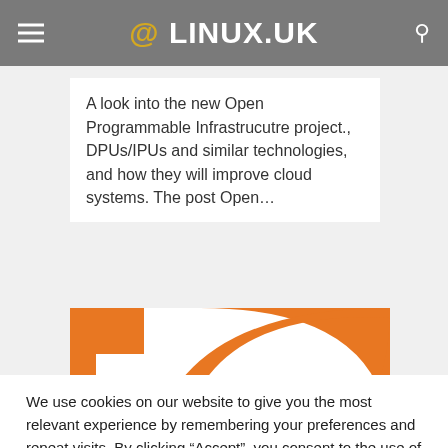@ LINUX.UK
A look into the new Open Programmable Infrastrucutre project., DPUs/IPUs and similar technologies, and how they will improve cloud systems. The post Open…
[Figure (logo): Orange and white Linux/RSS-style logo graphic with orange geometric shapes on white background]
We use cookies on our website to give you the most relevant experience by remembering your preferences and repeat visits. By clicking “Accept”, you consent to the use of ALL the cookies.
Cookie settings   ACCEPT